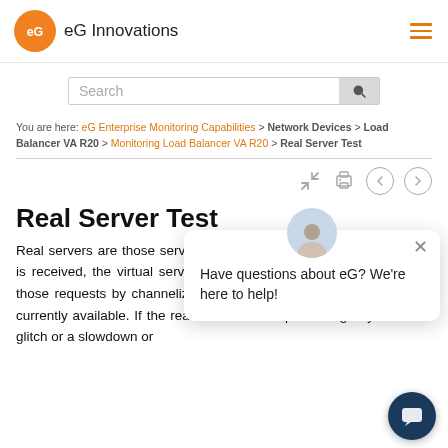eG Innovations
Search
You are here: eG Enterprise Monitoring Capabilities > Network Devices > Load Balancer VA R20 > Monitoring Load Balancer VA R20 > Real Server Test
Real Server Test
Real servers are those server in a server Whenever a client request is received, the virtual server bound to the real server responds to those requests by channelizing the requests to the servers that are currently available. If the real servers are experiencing any technical glitch or a slowdown or
Have questions about eG? We're here to help!